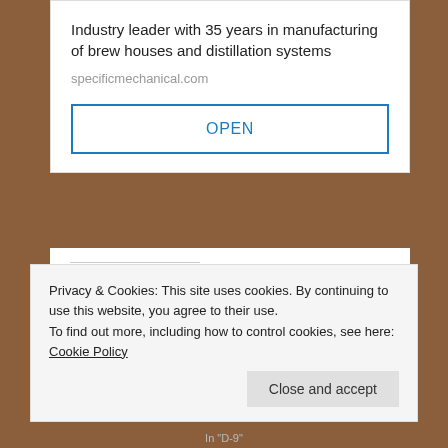Industry leader with 35 years in manufacturing of brew houses and distillation systems
specificmechanical.com
OPEN
Share this:
[Figure (illustration): Twitter and Facebook social share icon buttons (cyan/blue circles with bird and f logos)]
Privacy & Cookies: This site uses cookies. By continuing to use this website, you agree to their use.
To find out more, including how to control cookies, see here: Cookie Policy
Close and accept
In "D-9"